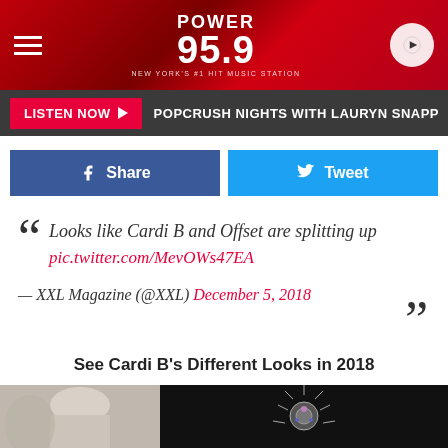POWER 95.9
LISTEN NOW  POPCRUSH NIGHTS WITH LAURYN SNAPP
Share  Tweet
"Looks like Cardi B and Offset are splitting up pic.twitter.com/MevOWs47EA — XXL Magazine (@XXL) December 5, 2018"
See Cardi B's Different Looks in 2018
[Figure (photo): Photo strip showing Cardi B in two images, one light background draped fabric, one dark background with ornate jeweled headdress]